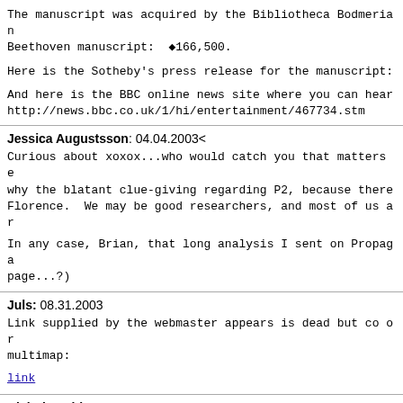The manuscript was acquired by the Bibliotheca Bodmerian Beethoven manuscript:  ◆166,500.
Here is the Sotheby's press release for the manuscript:
And here is the BBC online news site where you can hear
http://news.bbc.co.uk/1/hi/entertainment/467734.stm
Jessica Augustsson: 04.04.2003<
Curious about xoxox...who would catch you that matters e why the blatant clue-giving regarding P2, because there Florence.  We may be good researchers, and most of us ar
In any case, Brian, that long analysis I sent on Propaga page...?)
Juls: 08.31.2003
Link supplied by the webmaster appears is dead but co or multimap:
link
Nicholas Phipps: 06.16.2004
RE: possible translation device. I forget which date but